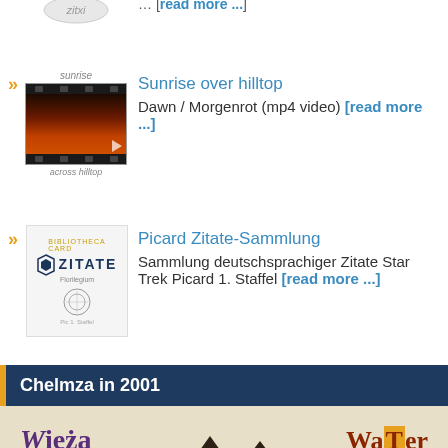Sunrise over hilltop — Dawn / Morgenrot (mp4 video) [read more ...]
Picard Zitate-Sammlung — Sammlung deutschsprachiger Zitate Star Trek Picard 1. Staffel [read more ...]
Chelmza in 2001
[Figure (photo): Chelmza in 2001 - showing Wieża Wodna and Water Tower text with chocolate/dark background image]